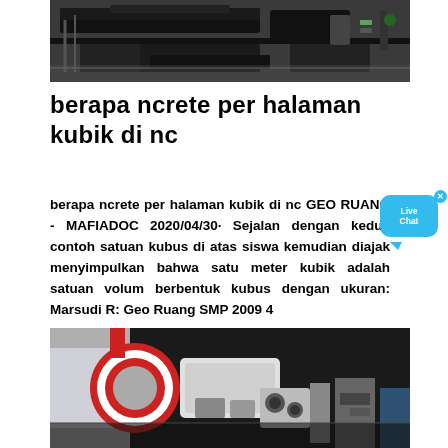[Figure (photo): Industrial black machinery/equipment on a floor, top-down/angled view]
berapa ncrete per halaman kubik di nc
berapa ncrete per halaman kubik di nc GEO RUANG - MAFIADOC 2020/04/30· Sejalan dengan kedua contoh satuan kubus di atas siswa kemudian diajak menyimpulkan bahwa satu meter kubik adalah satuan volum berbentuk kubus dengan ukuran: Marsudi R: Geo Ruang SMP 2009 4
[Figure (photo): Industrial machinery close-up with red, white and black components, rollers or wheels visible]